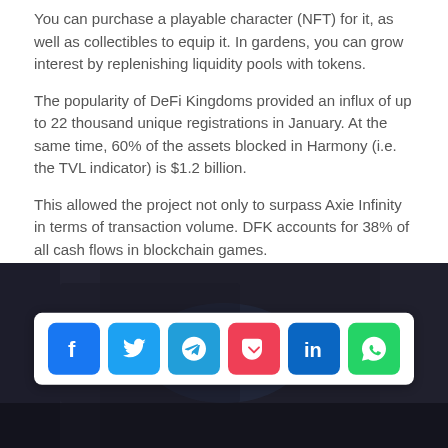You can purchase a playable character (NFT) for it, as well as collectibles to equip it. In gardens, you can grow interest by replenishing liquidity pools with tokens.
The popularity of DeFi Kingdoms provided an influx of up to 22 thousand unique registrations in January. At the same time, 60% of the assets blocked in Harmony (i.e. the TVL indicator) is $1.2 billion.
This allowed the project not only to surpass Axie Infinity in terms of transaction volume. DFK accounts for 38% of all cash flows in blockchain games.
[Figure (screenshot): Dark background image with a social media sharing bar overlay showing icons for Facebook, Twitter, Telegram, Pocket, LinkedIn, and WhatsApp]